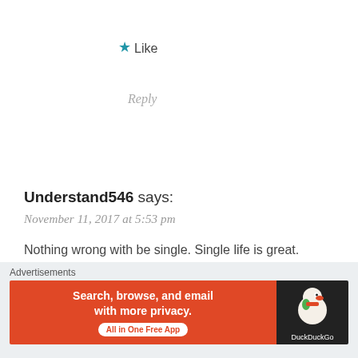★ Like
Reply
Understand546 says:
November 11, 2017 at 5:53 pm
Nothing wrong with be single. Single life is great.
When you single you can wake up everyday in tge morning and say "Hey, I'm not getting cheated on" it works everytime to make me happy
★ Liked by 1 person
Reply
Advertisements
[Figure (infographic): DuckDuckGo advertisement banner: orange background on left with white text 'Search, browse, and email with more privacy. All in One Free App' button, dark background on right with DuckDuckGo duck logo and name.]